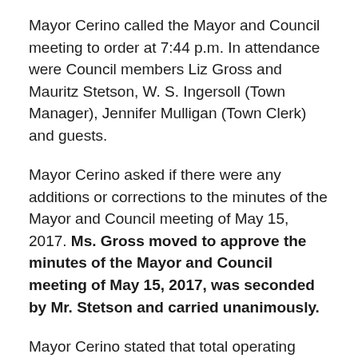Mayor Cerino called the Mayor and Council meeting to order at 7:44 p.m. In attendance were Council members Liz Gross and Mauritz Stetson, W. S. Ingersoll (Town Manager), Jennifer Mulligan (Town Clerk) and guests.
Mayor Cerino asked if there were any additions or corrections to the minutes of the Mayor and Council meeting of May 15, 2017. Ms. Gross moved to approve the minutes of the Mayor and Council meeting of May 15, 2017, was seconded by Mr. Stetson and carried unanimously.
Mayor Cerino stated that total operating cash on hand for unrestricted use is $1,040,117.32. Mayor Cerino stated that there was a separate fund for